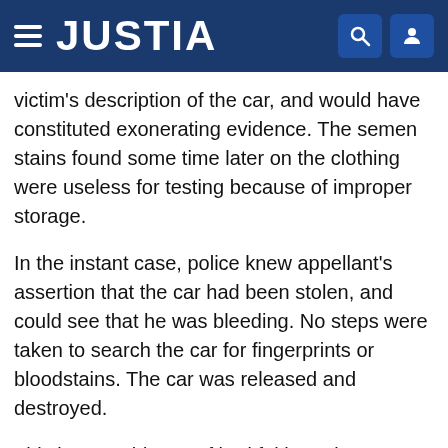JUSTIA
victim's description of the car, and would have constituted exonerating evidence. The semen stains found some time later on the clothing were useless for testing because of improper storage.
In the instant case, police knew appellant's assertion that the car had been stolen, and could see that he was bleeding. No steps were taken to search the car for fingerprints or bloodstains. The car was released and destroyed.
This is not evidence of bad faith. As in Youngblood, there was no showing that police acted contrary to accepted procedures. No attempt was made to conceal the evidence from appellant. He had been provided with police reports which showed the whereabouts of the car. He had access to the evidence for inspection or